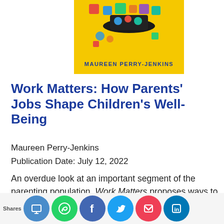[Figure (illustration): Book cover for 'Work Matters: How Parents' Jobs Shape Children's Well-Being' by Maureen Perry-Jenkins. Yellow background with colorful toy blocks and a black cap on top. Author name in blue text at bottom of cover.]
Work Matters: How Parents' Jobs Shape Children's Well-Being
Maureen Perry-Jenkins
Publication Date: July 12, 2022
An overdue look at an important segment of the parenting population, Work Matters proposes ways to reimagine low-wage work to sustain new families and the development of [future generations]
[Figure (infographic): Social sharing bar at the bottom with Shares label and icons for SITO, WhatsApp, Facebook, Twitter, Pocket, and LinkedIn]